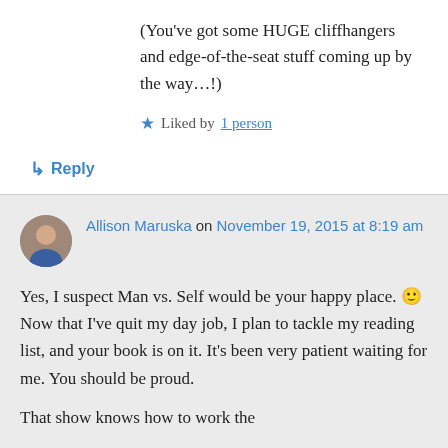(You've got some HUGE cliffhangers and edge-of-the-seat stuff coming up by the way…!)
★ Liked by 1 person
↳ Reply
Allison Maruska on November 19, 2015 at 8:19 am
Yes, I suspect Man vs. Self would be your happy place. 🙂 Now that I've quit my day job, I plan to tackle my reading list, and your book is on it. It's been very patient waiting for me. You should be proud.
That show knows how to work the